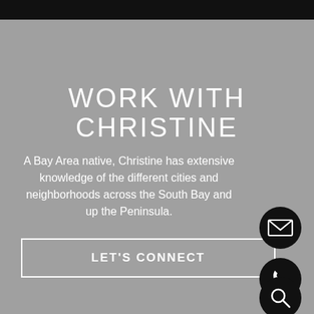WORK WITH CHRISTINE
A Bay Area native, Christine has extensive knowledge of the different cities and neighborhoods across the South Bay and up the Peninsula.
LET'S CONNECT
[Figure (illustration): Three black circular icon buttons on the right side: email/envelope icon, phone icon, and search/magnifying glass icon]
[Figure (illustration): Black top bar header strip]